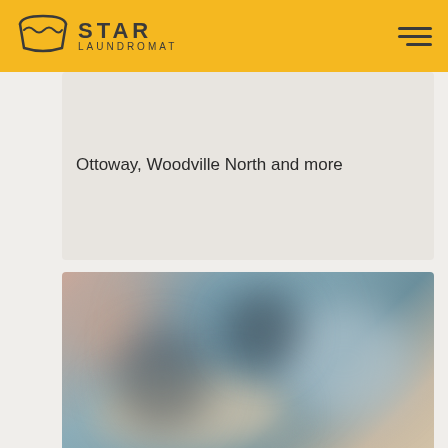STAR LAUNDROMAT
Ottoway, Woodville North and more
[Figure (photo): Blurred interior photo of a laundromat showing washing machines and the store interior]
Blackwood
Blackwood Star Laundromat, coinless or cash. Services suburbs of Aberfoyle Park, Belair, Bellevue Heights, Coromandel Valley, Craigburn Farm and more.